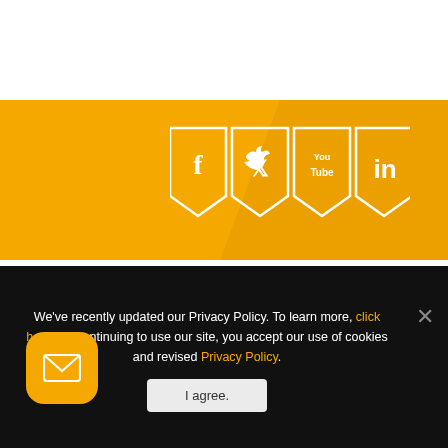[Figure (infographic): Orange banner with four social media icons (Facebook, Twitter, YouTube, LinkedIn) displayed as white pentagon/chevron badge shapes on an orange background.]
[Figure (logo): CTC Technologies Inc. logo — blue stylized 'CTC' letters with an orange swoosh/ellipse, and 'TECHNOLOGIES INC' text below in dark blue.]
We've recently updated our Privacy Policy. To learn more, click here. By continuing to use our site, you accept our use of cookies and revised Privacy Policy.
I agree.